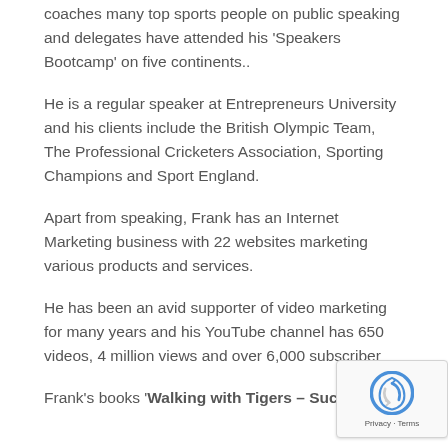coaches many top sports people on public speaking and delegates have attended his ‘Speakers Bootcamp’ on five continents..
He is a regular speaker at Entrepreneurs University and his clients include the British Olympic Team, The Professional Cricketers Association, Sporting Champions and Sport England.
Apart from speaking, Frank has an Internet Marketing business with 22 websites marketing various products and services.
He has been an avid supporter of video marketing for many years and his YouTube channel has 650 videos, 4 million views and over 6,000 subscribers.
Frank’s books ‘Walking with Tigers – Success Secrets of the World’s Top Business Leaders’